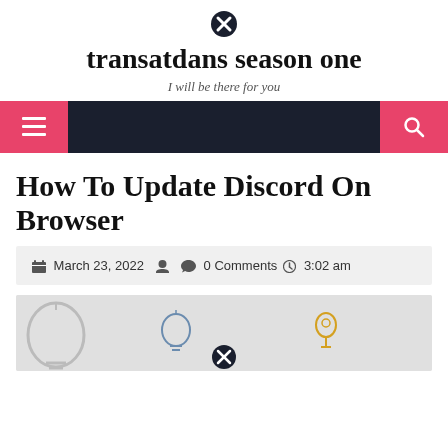transatdans season one — I will be there for you
How To Update Discord On Browser
March 23, 2022  0 Comments  3:02 am
[Figure (illustration): Featured image area with light bulb icons and close/pin icons on gray background]